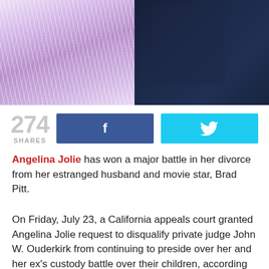[Figure (photo): Split photo: left side shows a woman in a lavender/purple pleated fan-style dress from behind; right side shows a man in a dark navy jacket.]
274 SHARES
Angelina Jolie has won a major battle in her divorce from her estranged husband and movie star, Brad Pitt.
On Friday, July 23, a California appeals court granted Angelina Jolie request to disqualify private judge John W. Ouderkirk from continuing to preside over her and her ex’s custody battle over their children, according to court documents obtained by E! News.